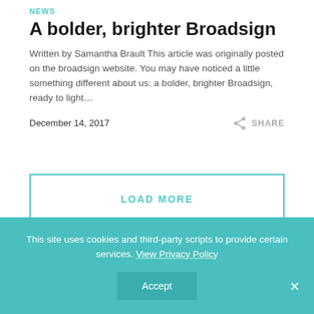NEWS
A bolder, brighter Broadsign
Written by Samantha Brault This article was originally posted on the broadsign website. You may have noticed a little something different about us: a bolder, brighter Broadsign, ready to light…
December 14, 2017
SHARE
LOAD MORE
This site uses cookies and third-party scripts to provide certain services. View Privacy Policy
Accept